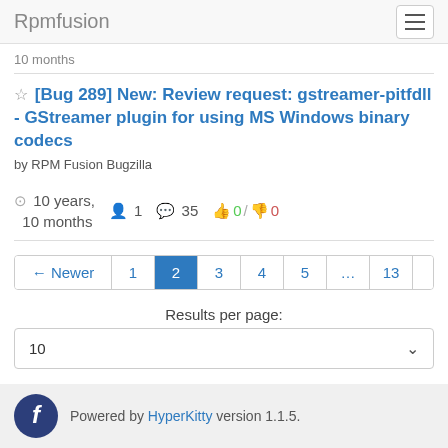Rpmfusion
10 months
[Bug 289] New: Review request: gstreamer-pitfdll - GStreamer plugin for using MS Windows binary codecs
by RPM Fusion Bugzilla
10 years, 10 months  1  35  0 / 0
← Newer  1  2  3  4  5  ...  13  Older →
Results per page:
10
Powered by HyperKitty version 1.1.5.